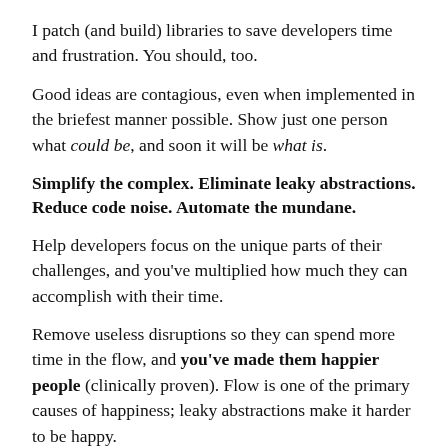I patch (and build) libraries to save developers time and frustration. You should, too.
Good ideas are contagious, even when implemented in the briefest manner possible. Show just one person what could be, and soon it will be what is.
Simplify the complex. Eliminate leaky abstractions. Reduce code noise. Automate the mundane.
Help developers focus on the unique parts of their challenges, and you've multiplied how much they can accomplish with their time.
Remove useless disruptions so they can spend more time in the flow, and you've made them happier people (clinically proven). Flow is one of the primary causes of happiness; leaky abstractions make it harder to be happy.
This is a goal every developer can achieve. Fixing a bug might save 100 people 30 minutes of frustration. That's a massive win in terms of net happiness, even if it was hard for you.
Just the psychological effect of a pull request is enormous to a library developer. It's a concrete